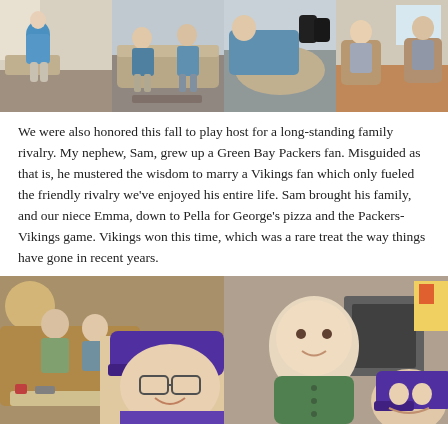[Figure (photo): Grid of 4 family photos at top showing people relaxing indoors]
We were also honored this fall to play host for a long-standing family rivalry. My nephew, Sam, grew up a Green Bay Packers fan. Misguided as that is, he mustered the wisdom to marry a Vikings fan which only fueled the friendly rivalry we've enjoyed his entire life. Sam brought his family, and our niece Emma, down to Pella for George's pizza and the Packers-Vikings game. Vikings won this time, which was a rare treat the way things have gone in recent years.
[Figure (photo): Two photos at bottom: left shows group selfie with Vikings fan wearing purple hat, right shows baby with adult wearing Vikings hat]
[Figure (photo): Baby in green sweater with adult wearing Vikings cap]